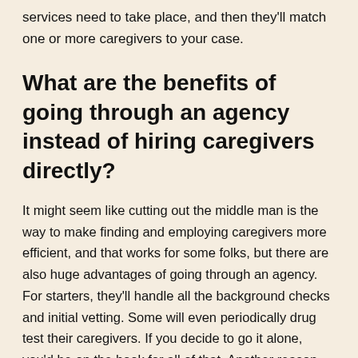services need to take place, and then they'll match one or more caregivers to your case.
What are the benefits of going through an agency instead of hiring caregivers directly?
It might seem like cutting out the middle man is the way to make finding and employing caregivers more efficient, and that works for some folks, but there are also huge advantages of going through an agency. For starters, they'll handle all the background checks and initial vetting. Some will even periodically drug test their caregivers. If you decide to go it alone, you'd be on the hook for all of that. Another reason many people decide to use senior